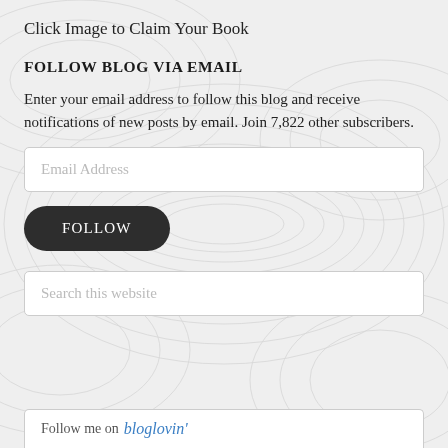Click Image to Claim Your Book
FOLLOW BLOG VIA EMAIL
Enter your email address to follow this blog and receive notifications of new posts by email. Join 7,822 other subscribers.
Email Address
FOLLOW
Search this website
Follow me on bloglovin'